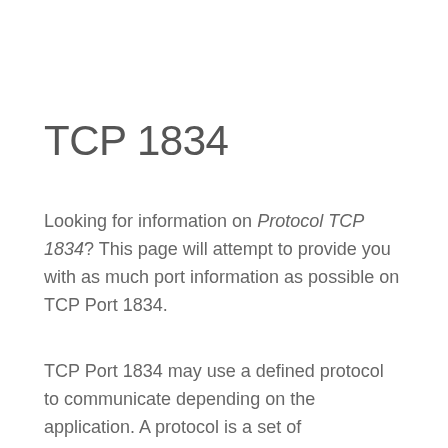TCP 1834
Looking for information on Protocol TCP 1834? This page will attempt to provide you with as much port information as possible on TCP Port 1834.
TCP Port 1834 may use a defined protocol to communicate depending on the application. A protocol is a set of